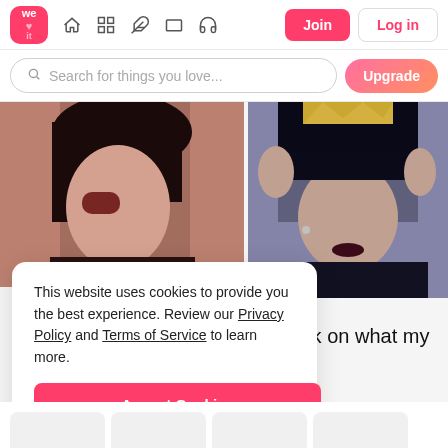We Heart It - navigation bar with Join and Log in buttons
Search for things you love...
[Figure (photo): Young woman with dark hair and sunglasses against a brick wall background]
[Figure (photo): Woman with dark blue hair and gold crown, wearing dark outfit, eyes closed]
This website uses cookies to provide you the best experience. Review our Privacy Policy and Terms of Service to learn more.
Accept Cookies
Only users 16 years or older may use We Heart It.
eedback on what my dears...